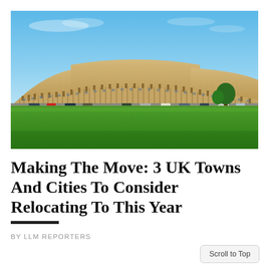[Figure (photo): Aerial/wide view of the Royal Crescent in Bath, UK — a sweeping curved Georgian terrace of honey-coloured stone buildings with columns, under a bright blue sky, with a large green lawn in the foreground and parked cars along the street.]
Making The Move: 3 UK Towns And Cities To Consider Relocating To This Year
BY LLM REPORTERS